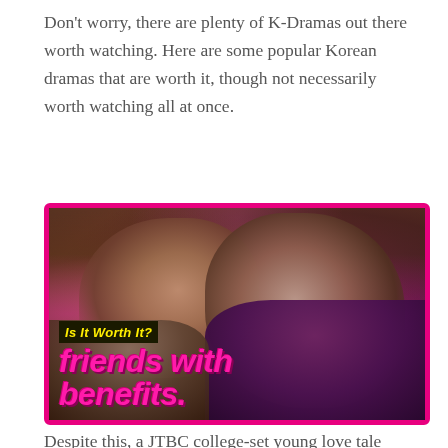Don't worry, there are plenty of K-Dramas out there worth watching. Here are some popular Korean dramas that are worth it, though not necessarily worth watching all at once.
[Figure (photo): A promotional image for a K-Drama titled 'Friends with Benefits' with the subtitle 'Is It Worth It?' showing two young people (a man and a woman) facing each other closely, with pink/magenta border and overlay text.]
Despite this, a JTBC college-set young love tale shown worldwide on Netflix makes no apologies for its bluntness. Han So-Hee, a breakthrough actress from The World of the